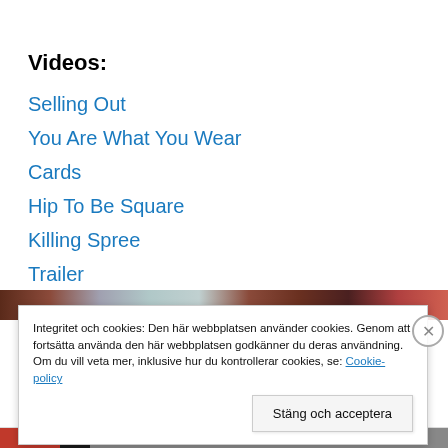Videos:
Selling Out
You Are What You Wear
Cards
Hip To Be Square
Killing Spree
Trailer
[Figure (photo): Decorative banner strip image with trees/nature scene]
Integritet och cookies: Den här webbplatsen använder cookies. Genom att fortsätta använda den här webbplatsen godkänner du deras användning.
Om du vill veta mer, inklusive hur du kontrollerar cookies, se: Cookie-policy
Stäng och acceptera